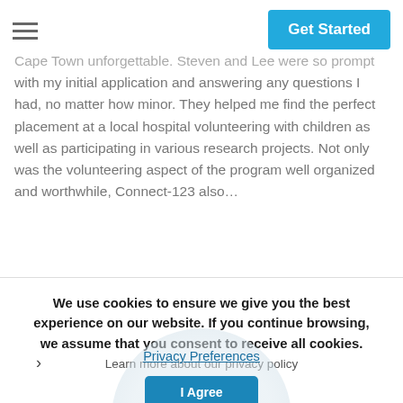Get Started
Cape Town unforgettable. Steven and Lee were so prompt with my initial application and answering any questions I had, no matter how minor. They helped me find the perfect placement at a local hospital volunteering with children as well as participating in various research projects. Not only was the volunteering aspect of the program well organized and worthwhile, Connect-123 also...
We use cookies to ensure we give you the best experience on our website. If you continue browsing, we assume that you consent to receive all cookies.
Learn more about our privacy policy
Privacy Preferences
I Agree